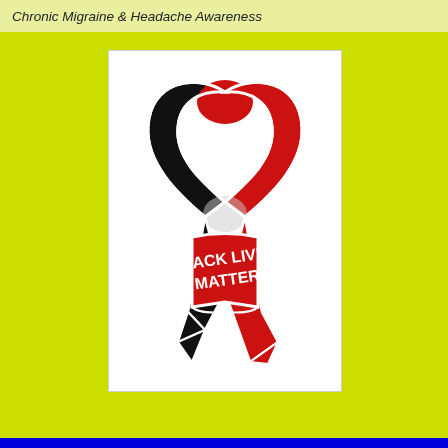Chronic Migraine & Headache Awareness
[Figure (illustration): An embroidered ribbon patch in red and black colors with the text 'BLACK LIVES MATTER' written on the ribbon in white letters. The ribbon has a white border and the classic awareness ribbon shape with two tails at the bottom.]